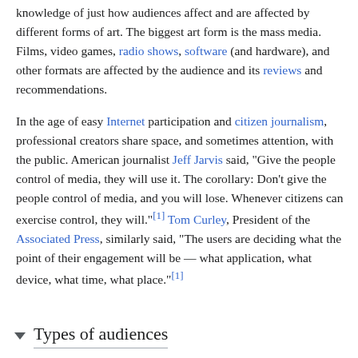knowledge of just how audiences affect and are affected by different forms of art. The biggest art form is the mass media. Films, video games, radio shows, software (and hardware), and other formats are affected by the audience and its reviews and recommendations.
In the age of easy Internet participation and citizen journalism, professional creators share space, and sometimes attention, with the public. American journalist Jeff Jarvis said, "Give the people control of media, they will use it. The corollary: Don't give the people control of media, and you will lose. Whenever citizens can exercise control, they will."[1] Tom Curley, President of the Associated Press, similarly said, "The users are deciding what the point of their engagement will be — what application, what device, what time, what place."[1]
Types of audiences